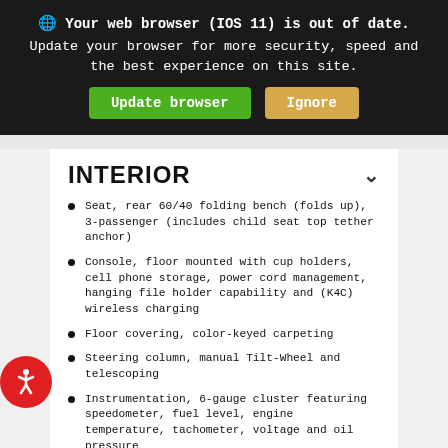Your web browser (IOS 11) is out of date. Update your browser for more security, speed and the best experience on this site. [Update browser] [Ignore]
INTERIOR
Seat, rear 60/40 folding bench (folds up), 3-passenger (includes child seat top tether anchor)
Console, floor mounted with cup holders, cell phone storage, power cord management, hanging file holder capability and (K4C) wireless charging
Floor covering, color-keyed carpeting
Steering column, manual Tilt-Wheel and telescoping
Instrumentation, 6-gauge cluster featuring speedometer, fuel level, engine temperature, tachometer, voltage and oil pressure
Display, customizable driver display, 8" multi-color configurable